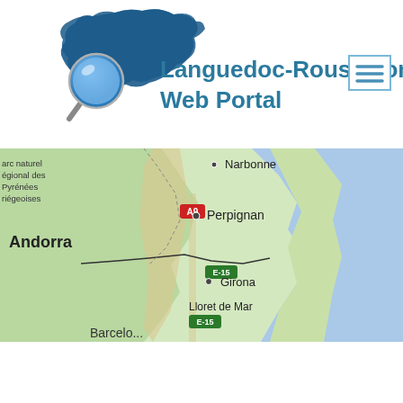[Figure (logo): Languedoc-Roussillon Web Portal logo with magnifying glass icon over blue region silhouette and teal text title]
[Figure (map): Google Maps screenshot showing Languedoc-Roussillon region of southern France including cities Narbonne, Perpignan, Andorra, Girona, and Lloret de Mar with Mediterranean Sea on the right]